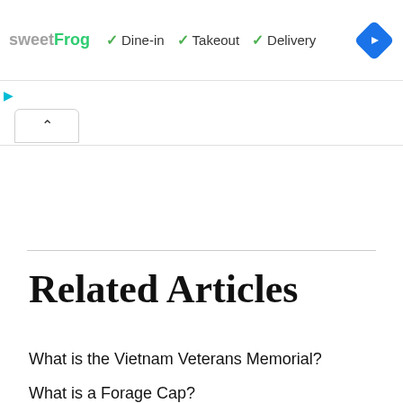[Figure (screenshot): Advertisement banner for sweetFrog frozen yogurt showing logo and dine-in, takeout, delivery options with checkmarks, and a blue navigation diamond icon]
[Figure (screenshot): Play and X control buttons in cyan color, and a tab/chevron bar with an up-arrow chevron button]
Related Articles
What is the Vietnam Veterans Memorial?
What is a Forage Cap?